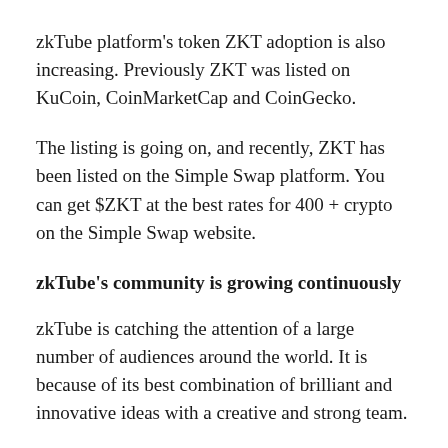zkTube platform's token ZKT adoption is also increasing. Previously ZKT was listed on KuCoin, CoinMarketCap and CoinGecko.
The listing is going on, and recently, ZKT has been listed on the Simple Swap platform. You can get $ZKT at the best rates for 400 + crypto on the Simple Swap website.
zkTube's community is growing continuously
zkTube is catching the attention of a large number of audiences around the world. It is because of its best combination of brilliant and innovative ideas with a creative and strong team.
zkTube is a robust community of over one hundred thousand people all together across different platforms